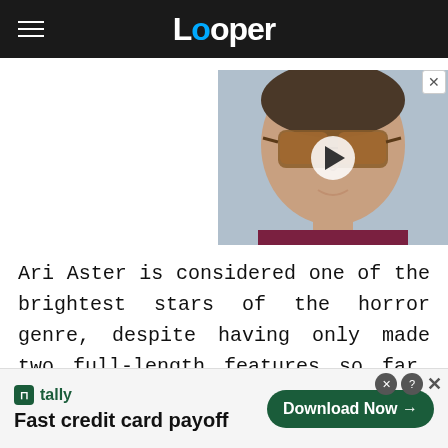Looper
[Figure (photo): Video thumbnail showing a man with amber-tinted sunglasses and dark hair, with a play button overlay in the center]
Ari Aster is considered one of the brightest stars of the horror genre, despite having only made two full-length features so far. Aster made his directorial debut with 2018's "Hereditary," where he showed an uncanny mastery of the genre by infusing many
[Figure (other): Tally advertisement banner: 'Fast credit card payoff' with Download Now button]